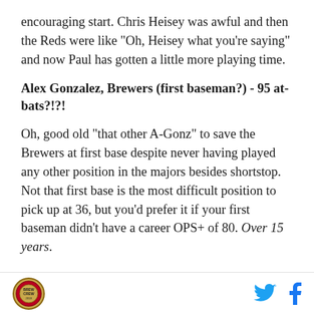encouraging start. Chris Heisey was awful and then the Reds were like "Oh, Heisey what you're saying" and now Paul has gotten a little more playing time.
Alex Gonzalez, Brewers (first baseman?) - 95 at-bats?!?!
Oh, good old "that other A-Gonz" to save the Brewers at first base despite never having played any other position in the majors besides shortstop. Not that first base is the most difficult position to pick up at 36, but you'd prefer it if your first baseman didn't have a career OPS+ of 80. Over 15 years.
While he has power outputs every now and then, he
Logo | Twitter | Facebook